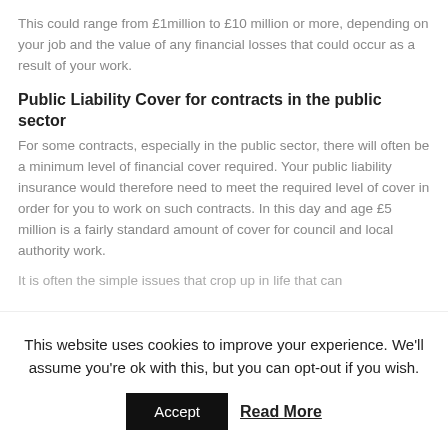This could range from £1million to £10 million or more, depending on your job and the value of any financial losses that could occur as a result of your work.
Public Liability Cover for contracts in the public sector
For some contracts, especially in the public sector, there will often be a minimum level of financial cover required.  Your public liability insurance would therefore need to meet the required level of cover in order for you to work on such contracts.  In this day and age £5 million is a fairly standard amount of cover for council and local authority work.
It is often the simple issues that crop up in life that can
This website uses cookies to improve your experience. We'll assume you're ok with this, but you can opt-out if you wish.